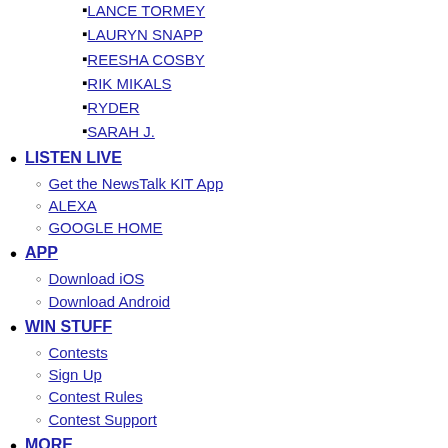LANCE TORMEY
LAURYN SNAPP
REESHA COSBY
RIK MIKALS
RYDER
SARAH J.
LISTEN LIVE
Get the NewsTalk KIT App
ALEXA
GOOGLE HOME
APP
Download iOS
Download Android
WIN STUFF
Contests
Sign Up
Contest Rules
Contest Support
MORE
Weather
5-Day Forecast
Road and pass report
School closures and delays
EVENTS
Submit Event or PSA